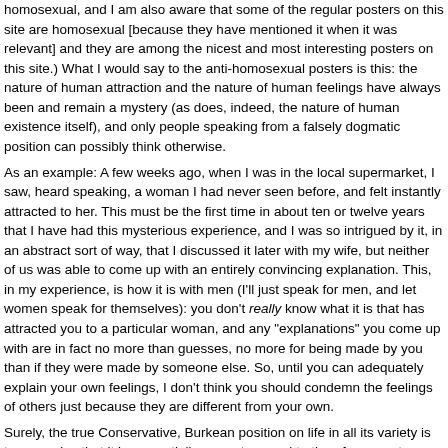homosexual, and I am also aware that some of the regular posters on this site are homosexual [because they have mentioned it when it was relevant] and they are among the nicest and most interesting posters on this site.) What I would say to the anti-homosexual posters is this: the nature of human attraction and the nature of human feelings have always been and remain a mystery (as does, indeed, the nature of human existence itself), and only people speaking from a falsely dogmatic position can possibly think otherwise.
As an example: A few weeks ago, when I was in the local supermarket, I saw, heard speaking, a woman I had never seen before, and felt instantly attracted to her. This must be the first time in about ten or twelve years that I have had this mysterious experience, and I was so intrigued by it, in an abstract sort of way, that I discussed it later with my wife, but neither of us was able to come up with an entirely convincing explanation. This, in my experience, is how it is with men (I'll just speak for men, and let women speak for themselves): you don't really know what it is that has attracted you to a particular woman, and any "explanations" you come up with are in fact no more than guesses, no more valid for being made by you than if they were made by someone else. So, until you can adequately explain your own feelings, I don't think you should condemn the feelings of others just because they are different from your own.
Surely, the true Conservative, Burkean position on life in all its variety is to recognize that it is, essentially, a mystery, and to therefore enact policies which go with the grain of life as it exists, and change it as little as possible, rather than attempt to unnaturally crush it. Leave that dogmatic approach to hidebound